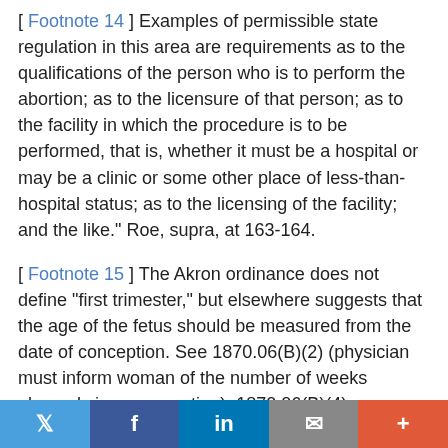[ Footnote 14 ] Examples of permissible state regulation in this area are requirements as to the qualifications of the person who is to perform the abortion; as to the licensure of that person; as to the facility in which the procedure is to be performed, that is, whether it must be a hospital or may be a clinic or some other place of less-than-hospital status; as to the licensing of the facility; and the like." Roe, supra, at 163-164.
[ Footnote 15 ] The Akron ordinance does not define "first trimester," but elsewhere suggests that the age of the fetus should be measured from the date of conception. See 1870.06(B)(2) (physician must inform woman of the number of weeks elapsed since conception); 1870.06(B)(4) (physician must inform woman that a fetus may be viable after 22 weeks from conception). An average pregnancy lasts approximately 38 weeks from the time of conception
Twitter | Facebook | LinkedIn | Email | More